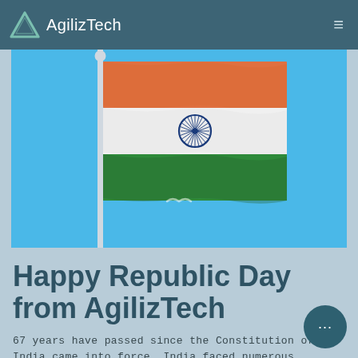AgilizTech
[Figure (photo): Indian national flag (tricolor - saffron, white with Ashoka Chakra, and green) waving on a flagpole against a bright blue sky]
Happy Republic Day from AgilizTech
67 years have passed since the Constitution of India came into force. India faced numerous challenges